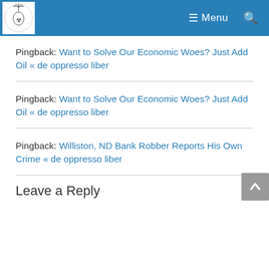Menu
Pingback: Want to Solve Our Economic Woes? Just Add Oil « de oppresso liber
Pingback: Want to Solve Our Economic Woes? Just Add Oil « de oppresso liber
Pingback: Williston, ND Bank Robber Reports His Own Crime « de oppresso liber
Leave a Reply